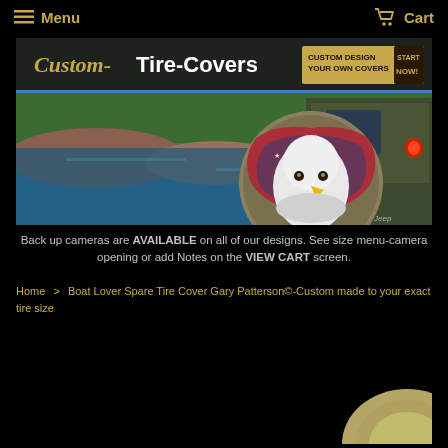Menu   Cart
[Figure (screenshot): Custom-Tire-Covers website banner showing a Jeep with an American eagle tire cover against a lake/forest background, with 'CUSTOM DESIGN YOUR OWN COVERS START NOW!' button]
Back up cameras are AVAILABLE on all of our designs. See size menu-camera opening or add Notes on the VIEW CART screen.
Home > Boat Lover Spare Tire Cover Gary Patterson©-Custom made to your exact tire size
[Figure (photo): Partial circular product image at bottom right corner]